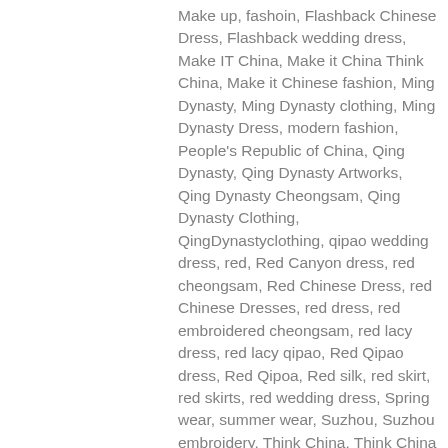Make up, fashoin, Flashback Chinese Dress, Flashback wedding dress, Make IT China, Make it China Think China, Make it Chinese fashion, Ming Dynasty, Ming Dynasty clothing, Ming Dynasty Dress, modern fashion, People's Republic of China, Qing Dynasty, Qing Dynasty Artworks, Qing Dynasty Cheongsam, Qing Dynasty Clothing, QingDynastyclothing, qipao wedding dress, red, Red Canyon dress, red cheongsam, Red Chinese Dress, red Chinese Dresses, red dress, red embroidered cheongsam, red lacy dress, red lacy qipao, Red Qipao dress, Red Qipoa, Red silk, red skirt, red skirts, red wedding dress, Spring wear, summer wear, Suzhou, Suzhou embroidery, Think China, Think China Fashion, Think fashion China, Traditional Chinese Wedding dress, traditional wedding dress, wedding, wedding dress, wedding dresses, wedding fashion, weddings, work wear Chinese Wedding